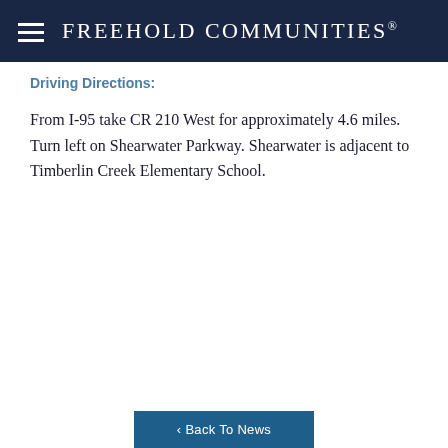Freehold Communities®
Driving Directions:
From I-95 take CR 210 West for approximately 4.6 miles. Turn left on Shearwater Parkway. Shearwater is adjacent to Timberlin Creek Elementary School.
< Back To News